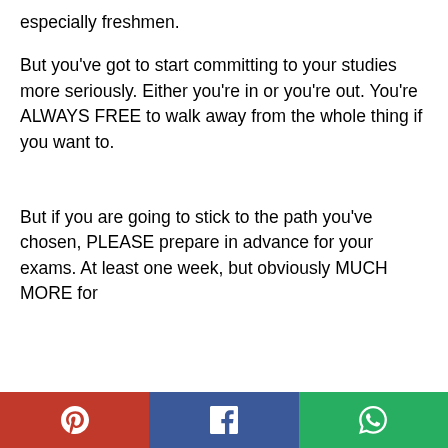especially freshmen.
But you've got to start committing to your studies more seriously. Either you're in or you're out. You're ALWAYS FREE to walk away from the whole thing if you want to.
But if you are going to stick to the path you've chosen, PLEASE prepare in advance for your exams. At least one week, but obviously MUCH MORE for
[Figure (other): Social share bar with Pinterest (red), Facebook (blue), and WhatsApp (green) buttons]